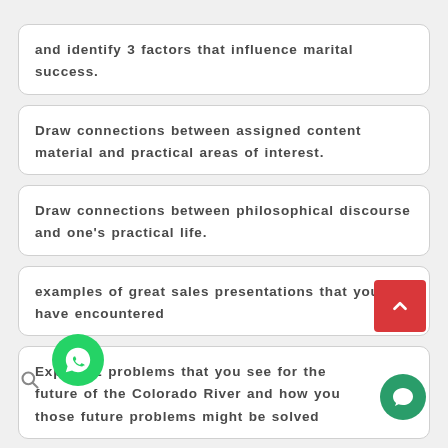and identify 3 factors that influence marital success.
Draw connections between assigned content material and practical areas of interest.
Draw connections between philosophical discourse and one's practical life.
examples of great sales presentations that you have encountered
Explain 2 problems that you see for the future of the Colorado River and how you those future problems might be solved